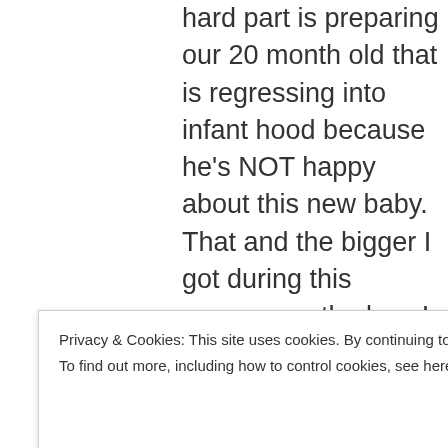hard part is preparing our 20 month old that is regressing into infant hood because he's NOT happy about this new baby. That and the bigger I got during this pregnancy, the less I could play with him the way we usually do. So, he thinks I'm forgetting about him or replacing him or something. I don't know exactly but it's been a struggle doing everything we can to reassure him that we have just a much love and
Privacy & Cookies: This site uses cookies. By continuing to use this website, you agree to their use. To find out more, including how to control cookies, see here: Cookie Policy